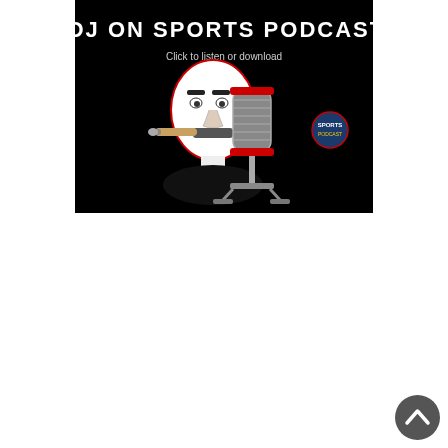[Figure (illustration): A black-background podcast banner image titled 'MOJ ON SPORTS PODCASTS' with subtitle 'Click to listen or download'. Features a cartoon illustration of a bald man with a cigar in his mouth holding a vintage microphone, and a small sports logo in the upper right.]
[Figure (other): A dark grey circular back-to-top button with an upward-pointing chevron arrow, positioned in the bottom-right corner of the page.]